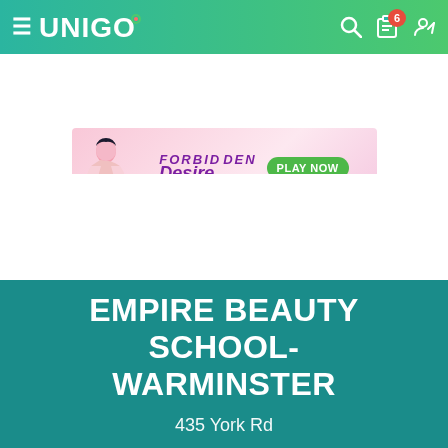UNIGO
[Figure (illustration): Advertisement banner for 'Forbidden Desire' game with pink anime-style graphic and a green 'PLAY NOW' button]
EMPIRE BEAUTY SCHOOL- WARMINSTER
435 York Rd